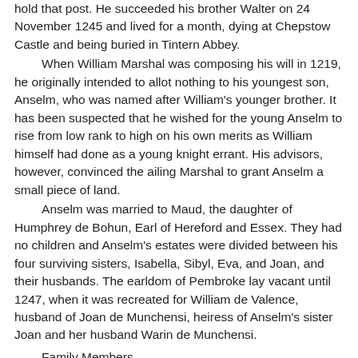hold that post. He succeeded his brother Walter on 24 November 1245 and lived for a month, dying at Chepstow Castle and being buried in Tintern Abbey.
When William Marshal was composing his will in 1219, he originally intended to allot nothing to his youngest son, Anselm, who was named after William's younger brother. It has been suspected that he wished for the young Anselm to rise from low rank to high on his own merits as William himself had done as a young knight errant. His advisors, however, convinced the ailing Marshal to grant Anselm a small piece of land.
Anselm was married to Maud, the daughter of Humphrey de Bohun, Earl of Hereford and Essex. They had no children and Anselm's estates were divided between his four surviving sisters, Isabella, Sibyl, Eva, and Joan, and their husbands. The earldom of Pembroke lay vacant until 1247, when it was recreated for William de Valence, husband of Joan de Munchensi, heiress of Anselm's sister Joan and her husband Warin de Munchensi.
Family Members
Parents
William Marshal 1146–1219
Isabel de Clare 1172–1220
Spouse
Maud de Bohun Quincy unknown–1252
Sibli...